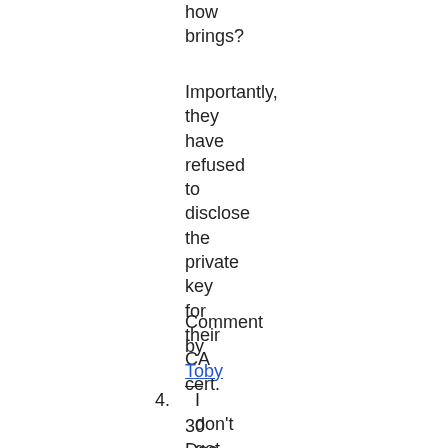how brings?
Importantly, they have refused to disclose the private key for their CA cert.
Comment by Toby — 30 Dec 2008 @ 19:01
I don't get what your beef